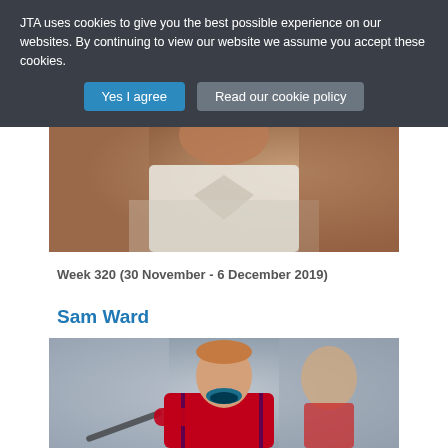JTA uses cookies to give you the best possible experience on our websites. By continuing to view our website we assume you accept these cookies.
Yes I agree
Read our cookie policy
[Figure (photo): Close-up of a person wearing a white collared shirt, face partially visible, blurred background with autumn colors]
Week 320 (30 November - 6 December 2019)
Sam Ward
[Figure (photo): Hockey player in red jersey with mouth guard, celebrating or shouting, with other players in background]